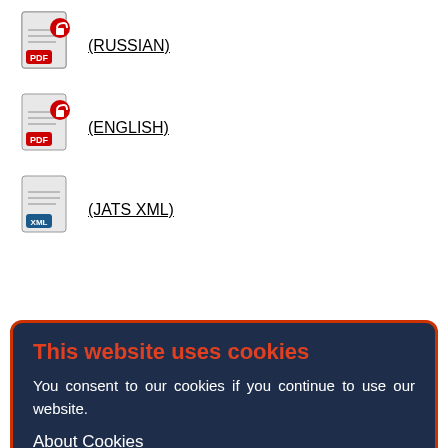[Figure (illustration): PDF file icon with red lock overlay labeled RUSSIAN]
(RUSSIAN)
[Figure (illustration): PDF file icon with red lock overlay labeled ENGLISH]
(ENGLISH)
[Figure (illustration): XML file icon labeled JATS XML]
(JATS XML)
Abstract
BACKGROUND: The pathogenesis of angioedema induced by angiotensin-converting enzyme inhibitors is based on the ... angiotensin-converting enzyme blockade. The severe acute respiratory syndrome coronavirus 2 (SARS-CoV-2) binds to the angiotensin-converting enzyme 2 receptor, which may inhibit its production and thereby lead to an increase in bradykinin levels. Thus, SARS-CoV-2 infection could be a likely trigger for the development of angioedema.
This website uses cookies
You consent to our cookies if you continue to use our website.
About Cookies
OK
AIMS: This study aimed to analyze cases of hospitalizations of patients with angioedema associated with the use of angiotensin-converting enzyme inhibitors and angiotensin receptor blockers during the coronavirus disease 2019 (COVID-19) pandemic.
MATERIALS AND METHODS: This study retrospectively analyzed medical records of patients admitted to the Vitebsk Regional Clinical Hospital between May 2020 and December...